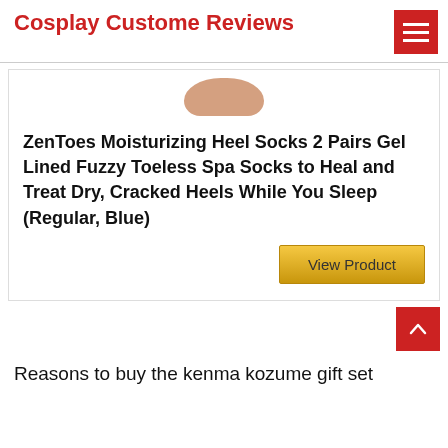Cosplay Custome Reviews
[Figure (photo): Partial product image showing a hand or foot, cropped at top]
ZenToes Moisturizing Heel Socks 2 Pairs Gel Lined Fuzzy Toeless Spa Socks to Heal and Treat Dry, Cracked Heels While You Sleep (Regular, Blue)
View Product
Reasons to buy the kenma kozume gift set